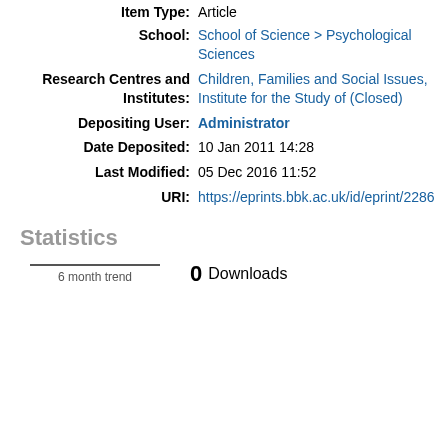Item Type: Article
School: School of Science > Psychological Sciences
Research Centres and Institutes: Children, Families and Social Issues, Institute for the Study of (Closed)
Depositing User: Administrator
Date Deposited: 10 Jan 2011 14:28
Last Modified: 05 Dec 2016 11:52
URI: https://eprints.bbk.ac.uk/id/eprint/2286
Statistics
0 Downloads
6 month trend